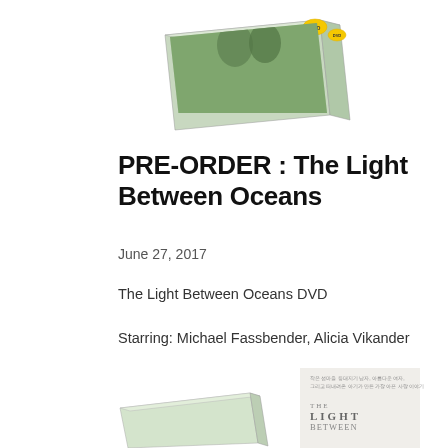[Figure (photo): DVD box of 'The Light Between Oceans' shown from above at an angle, partially visible at top of page]
PRE-ORDER : The Light Between Oceans
June 27, 2017
The Light Between Oceans DVD
Starring: Michael Fassbender, Alicia Vikander
Pre-order: June 27 / 4PM Korea Time
Total Print-run: 700
Price: $24.99
[Figure (photo): Bottom portion of DVD box and movie poster for 'The Light Between Oceans', partially visible at bottom of page]